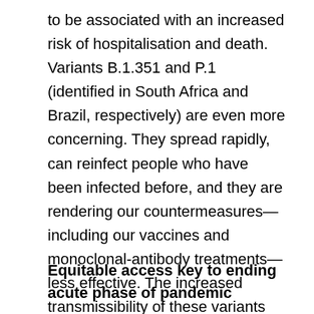to be associated with an increased risk of hospitalisation and death. Variants B.1.351 and P.1 (identified in South Africa and Brazil, respectively) are even more concerning. They spread rapidly, can reinfect people who have been infected before, and they are rendering our countermeasures—including our vaccines and monoclonal-antibody treatments—less effective. The increased transmissibility of these variants could result in a reversal in the global downward trends in transmission seen in recent weeks resulting in a renewed burden on health systems, and more deaths.
Equitable access key to ending acute phase of pandemic